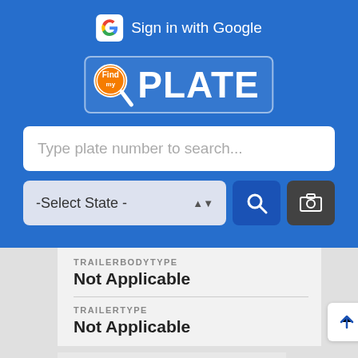[Figure (screenshot): FindMyPlate app header with 'Sign in with Google' button, FindPlate logo, plate number search input, state selector dropdown, search button, and camera button on blue background]
Sign in with Google
PLATE
Type plate number to search...
-Select State -
TRAILERBODYTYPE
Not Applicable
TRAILERTYPE
Not Applicable
TRIM
SE
TURBO